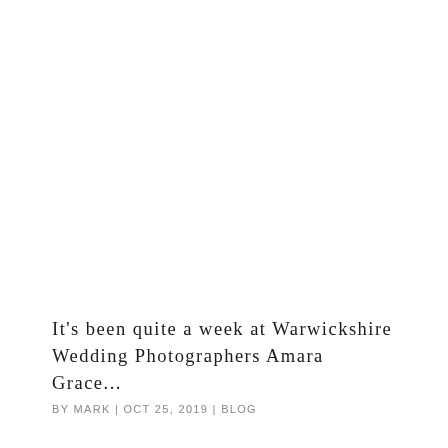It's been quite a week at Warwickshire Wedding Photographers Amara Grace...
BY MARK | OCT 25, 2019 | BLOG